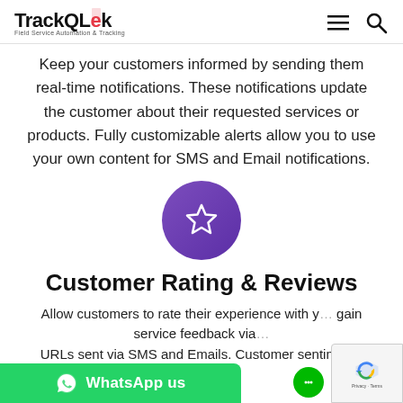TrackQLek — Field Service Automation & Tracking
Keep your customers informed by sending them real-time notifications. These notifications update the customer about their requested services or products. Fully customizable alerts allow you to use your own content for SMS and Email notifications.
[Figure (illustration): Purple gradient circle with a white star outline icon representing Customer Rating & Reviews]
Customer Rating & Reviews
Allow customers to rate their experience with you... gain service feedback via... URLs sent via SMS and Emails. Customer sentiments...